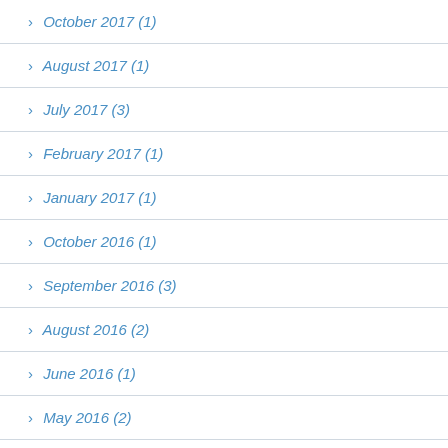› October 2017 (1)
› August 2017 (1)
› July 2017 (3)
› February 2017 (1)
› January 2017 (1)
› October 2016 (1)
› September 2016 (3)
› August 2016 (2)
› June 2016 (1)
› May 2016 (2)